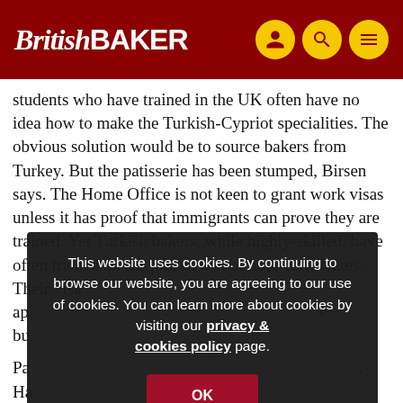British BAKER
students who have trained in the UK often have no idea how to make the Turkish-Cypriot specialities. The obvious solution would be to source bakers from Turkey. But the patisserie has been stumped, Birsen says. The Home Office is not keen to grant work visas unless it has proof that immigrants can prove they are trained. Yet Turkish bakers, while highly-skilled, have often trained on the job, so do not have certificates. Their visa ap... e bu...
Pa... Ha... co... po... food.
This website uses cookies. By continuing to browse our website, you are agreeing to our use of cookies. You can learn more about cookies by visiting our privacy & cookies policy page.